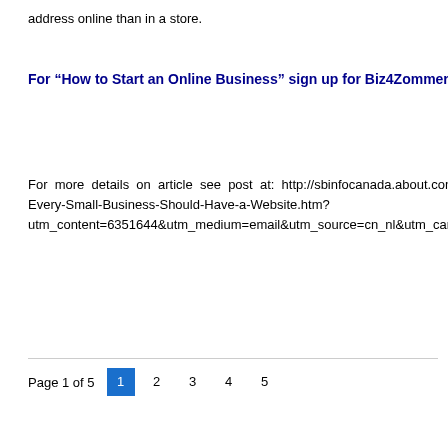address online than in a store.
For “How to Start an Online Business” sign up for Biz4Zommers next c
For more details on article see post at: http://sbinfocanada.about.com Every-Small-Business-Should-Have-a-Website.htm? utm_content=6351644&utm_medium=email&utm_source=cn_nl&utm_camp
Page 1 of 5  1  2  3  4  5